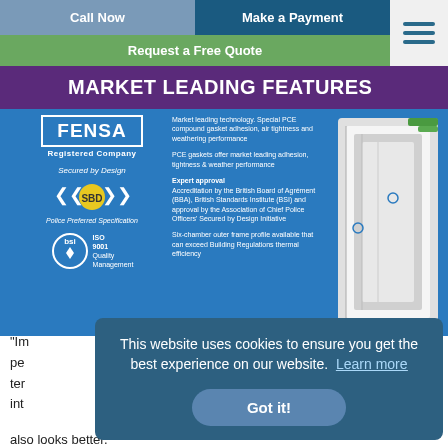Call Now | Make a Payment
Request a Free Quote
[Figure (infographic): Market Leading Features infographic showing FENSA Registered Company logo, Secured by Design SBD badge, BSI ISO 9001 Quality Management logo, and a cross-section diagram of a window frame with feature callouts: market leading technology with special PCE compound gasket adhesion, air tightness and weathering performance; PCE gaskets offer market leading adhesion, tightness & weather performance; Expert approval - Accreditation by the British Board of Agrément (BBA), British Standards Institute (BSI) and approval by the Association of Chief Police Officers' Secured by Design Initiative; Six-chamber outer frame profile available that can exceed Building Regulations thermal efficiency]
This website uses cookies to ensure you get the best experience on our website.  Learn more
Got it!
"Im... pe... ter... int... also looks better."